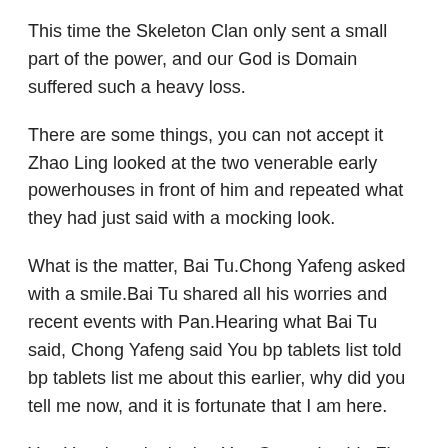This time the Skeleton Clan only sent a small part of the power, and our God is Domain suffered such a heavy loss.
There are some things, you can not accept it Zhao Ling looked at the two venerable early powerhouses in front of him and repeated what they had just said with a mocking look.
What is the matter, Bai Tu.Chong Yafeng asked with a smile.Bai Tu shared all his worries and recent events with Pan.Hearing what Bai Tu said, Chong Yafeng said You bp tablets list told bp tablets list me about this earlier, why did you tell me now, and it is fortunate that I am here.
Yun Yuanlang looked at Yun Guo er beside Zhao blood pressure 132 92 is it high Ling and did not know what to say for a bp tablets list while, but just kept staring at Yun Guo er.
Feature Article